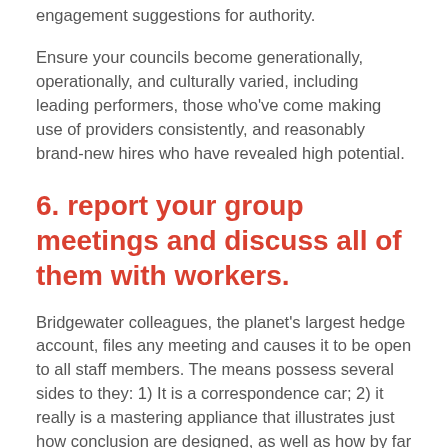engagement suggestions for authority.
Ensure your councils become generationally, operationally, and culturally varied, including leading performers, those who've come making use of providers consistently, and reasonably brand-new hires who have revealed high potential.
6. report your group meetings and discuss all of them with workers.
Bridgewater colleagues, the planet's largest hedge account, files any meeting and causes it to be open to all staff members. The means possess several sides to they: 1) It is a correspondence car; 2) it really is a mastering appliance that illustrates just how conclusion are designed, as well as how by far the most elder men and women are learning and raising; and 3) it motivates a lot more precise planning and interaction that reduces